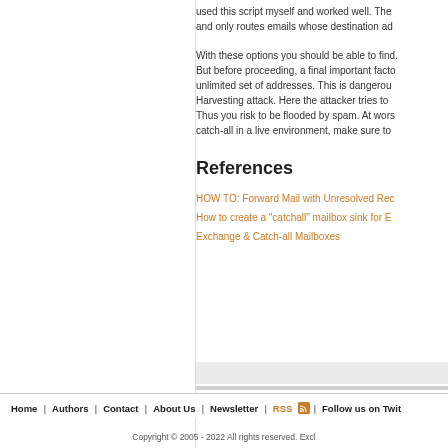used this script myself and worked well. The and only routes emails whose destination ad
With these options you should be able to find. But before proceeding, a final important facto unlimited set of addresses. This is dangerou Harvesting attack. Here the attacker tries to Thus you risk to be flooded by spam. At wors catch-all in a live environment, make sure to
References
HOW TO: Forward Mail with Unresolved Rec
How to create a "catchall" mailbox sink for E
Exchange & Catch-all Mailboxes
Home | Authors | Contact | About Us | Newsletter | RSS | Follow us on Twit
Copyright © 2005 - 2022 All rights reserved. Excl